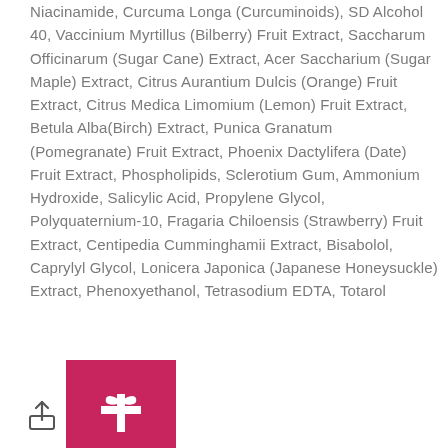Niacinamide, Curcuma Longa (Curcuminoids), SD Alcohol 40, Vaccinium Myrtillus (Bilberry) Fruit Extract, Saccharum Officinarum (Sugar Cane) Extract, Acer Saccharium (Sugar Maple) Extract, Citrus Aurantium Dulcis (Orange) Fruit Extract, Citrus Medica Limomium (Lemon) Fruit Extract, Betula Alba(Birch) Extract, Punica Granatum (Pomegranate) Fruit Extract, Phoenix Dactylifera (Date) Fruit Extract, Phospholipids, Sclerotium Gum, Ammonium Hydroxide, Salicylic Acid, Propylene Glycol, Polyquaternium-10, Fragaria Chiloensis (Strawberry) Fruit Extract, Centipedia Cumminghamii Extract, Bisabolol, Caprylyl Glycol, Lonicera Japonica (Japanese Honeysuckle) Extract, Phenoxyethanol, Tetrasodium EDTA, Totarol
[Figure (other): Share icon and pink/magenta gift button with bow icon]